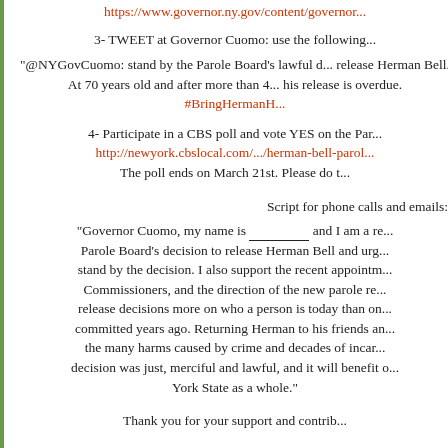https://www.governor.ny.gov/content/governor...
3- TWEET at Governor Cuomo: use the following...
"@NYGovCuomo: stand by the Parole Board's lawful decision to release Herman Bell. At 70 years old and after more than 40 years, his release is overdue. #BringHermanH..."
4- Participate in a CBS poll and vote YES on the Parole Board's decision: http://newyork.cbslocal.com/.../herman-bell-paroled... The poll ends on March 21st. Please do this...
Script for phone calls and emails:
"Governor Cuomo, my name is __________ and I am a resident... Parole Board's decision to release Herman Bell and urge you to stand by the decision. I also support the recent appointments of Commissioners, and the direction of the new parole reform: to base release decisions more on who a person is today than on what they committed years ago. Returning Herman to his friends and family heals the many harms caused by crime and decades of incarceration. This decision was just, merciful and lawful, and it will benefit our New York State as a whole."
Thank you for your support and contributions...